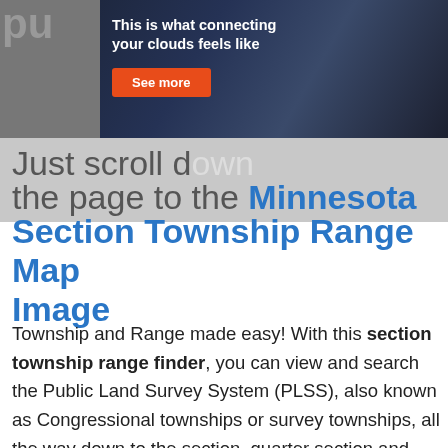[Figure (screenshot): Advertisement banner showing a person at a computer with text 'This is what connecting your clouds feels like' and a red 'See more' button, overlaid on a dark background]
Just scroll down the page to the Minnesota Section Township Range Map Image
Township and Range made easy! With this section township range finder, you can view and search the Public Land Survey System (PLSS), also known as Congressional townships or survey townships, all the way down to the section, quarter section and quarter quarter section level anywhere in Minnesota, all overlaid on a fully interactive Google Map. Optionally, add section township range labels, and overlay counties and cities as well!